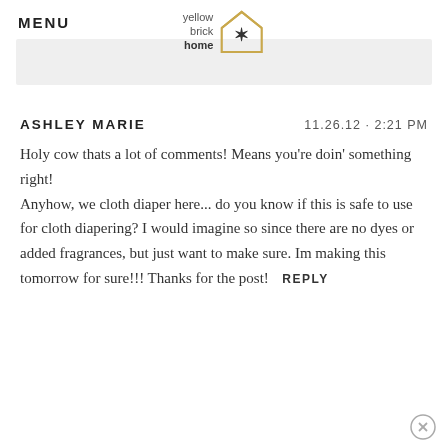MENU
[Figure (logo): Yellow Brick Home logo with house outline and star icon]
[Figure (other): Gray advertisement banner bar]
ASHLEY MARIE   11.26.12 · 2:21 PM
Holy cow thats a lot of comments! Means you're doin' something right! Anyhow, we cloth diaper here... do you know if this is safe to use for cloth diapering? I would imagine so since there are no dyes or added fragrances, but just want to make sure. Im making this tomorrow for sure!!! Thanks for the post!  REPLY